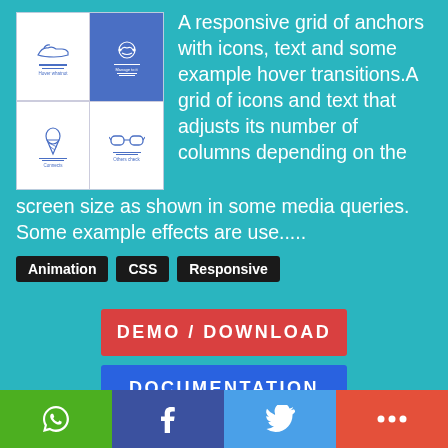[Figure (screenshot): Preview of a responsive icon grid UI showing four cells: shoe icon (top-left, white bg), decorative icon (top-right, blue bg with text 'Manage to it'), ice cream icon (bottom-left, white bg, label 'Connects'), glasses icon (bottom-right, white bg, label 'Others check')]
A responsive grid of anchors with icons, text and some example hover transitions.A grid of icons and text that adjusts its number of columns depending on the screen size as shown in some media queries. Some example effects are use.....
Animation
CSS
Responsive
DEMO / DOWNLOAD
DOCUMENTATION